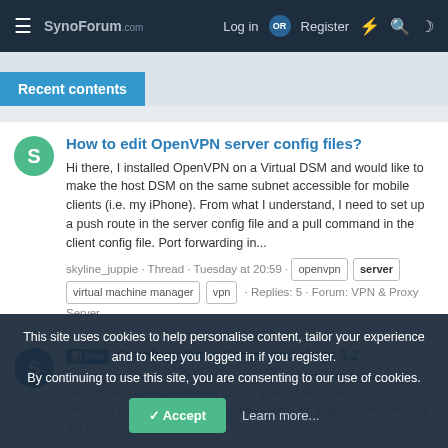SynoForum — Log in OR Register
Recent contents
How to edit OpenVPN server config files?
Hi there, I installed OpenVPN on a Virtual DSM and would like to make the host DSM on the same subnet accessible for mobile clients (i.e. my iPhone). From what I understand, I need to set up a push route in the server config file and a pull command in the client config file. Port forwarding in...
skyline_juppie · Thread · Tuesday at 20:59 · openvpn server virtual machine manager vpn · Replies: 5 · Forum: VPN & Proxy Server
Synology Drive Server and client 3.2
This site uses cookies to help personalise content, tailor your experience and to keep you logged in if you register. By continuing to use this site, you are consenting to our use of cookies.